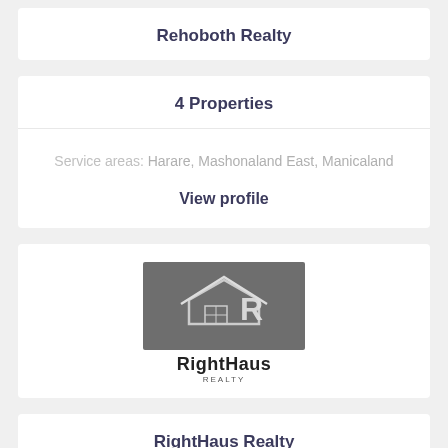Rehoboth Realty
4 Properties
Service areas: Harare, Mashonaland East, Manicaland
View profile
[Figure (logo): RightHaus Realty logo: dark grey banner with house and R icon, text RightHaus REALTY below]
RightHaus Realty